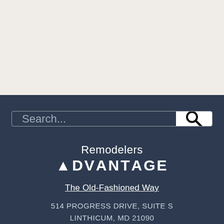[Figure (screenshot): Top light beige/off-white background section occupying the upper portion of the page]
[Figure (screenshot): Search bar with placeholder text 'Search...' and a magnifying glass icon button on dark navy background]
[Figure (logo): Remodelers Advantage logo with text 'Remodelers' above 'ADVANTAGE' with a triangle in the A]
The Old-Fashioned Way
514 PROGRESS DRIVE, SUITE S
LINTHICUM, MD 21090